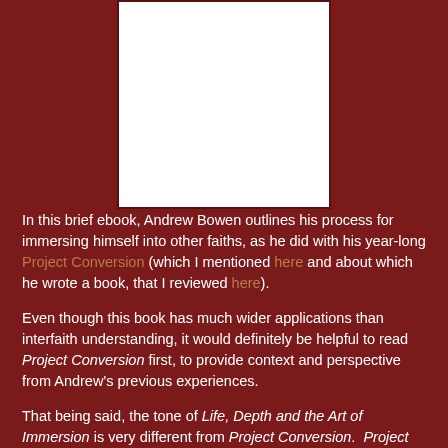[Figure (illustration): White book cover image centered at the top of the page against a dark red background]
In this brief ebook, Andrew Bowen outlines his process for immersing himself into other faiths, as he did with his year-long Project Conversion (which I mentioned here and about which he wrote a book, that I reviewed here).
Even though this book has much wider applications than interfaith understanding, it would definitely be helpful to read Project Conversion first, to provide context and perspective from Andrew's previous experiences.
That being said, the tone of Life, Depth and the Art of Immersion is very different from Project Conversion.  Project